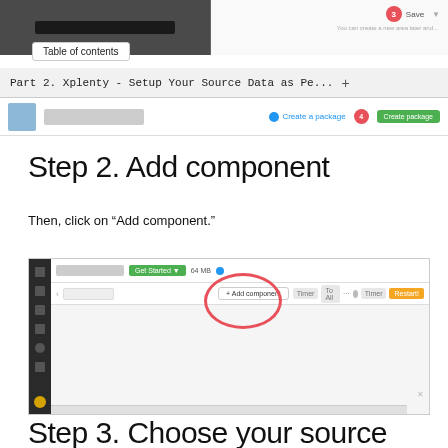[Figure (screenshot): Top portion of a browser/app screenshot showing a dark panel on left and a numbered step badge (3) with 'Save' label on right, with a table of contents tooltip overlay and a browser tab bar showing 'Part 2. Xplenty - Setup Your Source Data as Pe... +' and a second strip with avatar, 'Create a package' link, step 4 badge, and 'Create package' green button]
Step 2. Add component
Then, click on “Add component.”
[Figure (screenshot): Screenshot of Xplenty package editor interface showing a dark sidebar on left with icons, a top toolbar with a blurred input, 'Get Started' green button, '64 MB', and a blue dot, a second row with a text area and an 'Add component' button circled in red/pink, gray buttons (Timer, To All, ..., settings, Timer), and an orange 'Restart!' button, with a large light gray canvas area below]
Step 3. Choose your source Destination